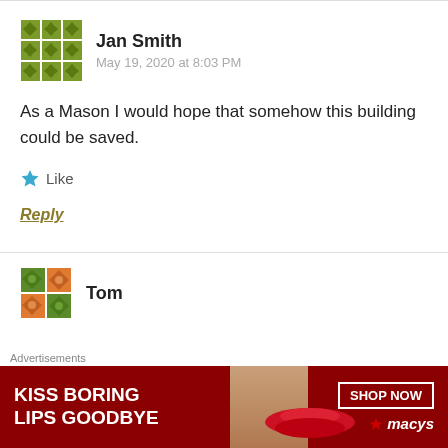[Figure (illustration): Green geometric/floral avatar icon for user Jan Smith]
Jan Smith
May 19, 2020 at 8:03 PM
As a Mason I would hope that somehow this building could be saved.
Like
Reply
[Figure (illustration): Green geometric avatar icon for user Tom]
Tom
Advertisements
[Figure (photo): Macy's ad banner: KISS BORING LIPS GOODBYE with SHOP NOW button and macys logo, showing a woman's face with red lips]